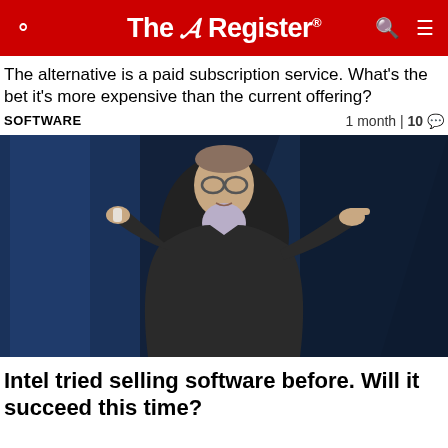The Register
The alternative is a paid subscription service. What's the bet it's more expensive than the current offering?
SOFTWARE    1 month | 10
[Figure (photo): A man in a dark suit gesturing on a stage with blue lighting behind him, holding a clicker in one hand and pointing with the other.]
Intel tried selling software before. Will it succeed this time?